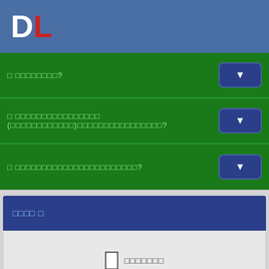DL
□ □□□□□□□□?
□ □□□□□□□□□□□□□□□ (□□□□□□□□□□□□)□□□□□□□□□□□□□□□□?
□ □□□□□□□□□□□□□□□□□□□□□□□?
□□□□ □
□  □□□□□□□